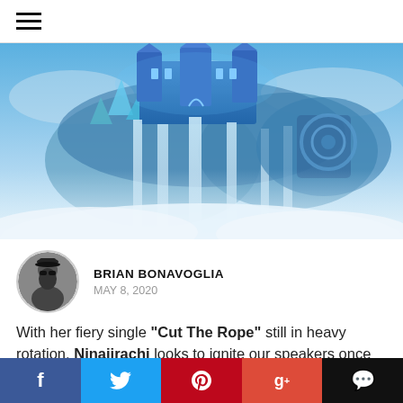hamburger menu icon
[Figure (illustration): Fantasy illustration of a glowing blue crystal castle floating above clouds with multiple large waterfalls cascading down from it into mist below, set against a blue sky.]
BRIAN BONAVOGLIA
MAY 8, 2020
With her fiery single "Cut The Rope" still in heavy rotation, Ninajirachi looks to ignite our speakers once